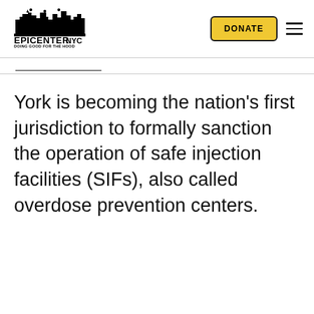[Figure (logo): Epicenter NYC logo with skyline silhouette and tagline DOING GOOD FOR THE HOOD]
York is becoming the nation's first jurisdiction to formally sanction the operation of safe injection facilities (SIFs), also called overdose prevention centers.